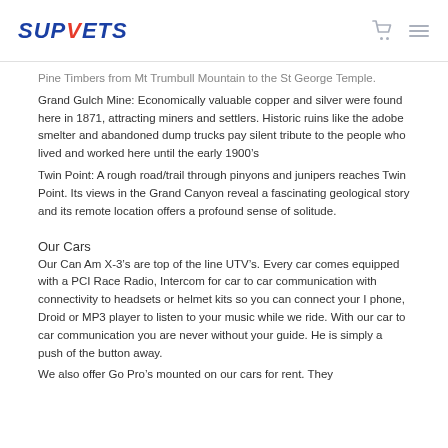SUPVETS
Pine Timbers from Mt Trumbull Mountain to the St George Temple.
Grand Gulch Mine: Economically valuable copper and silver were found here in 1871, attracting miners and settlers. Historic ruins like the adobe smelter and abandoned dump trucks pay silent tribute to the people who lived and worked here until the early 1900’s
Twin Point: A rough road/trail through pinyons and junipers reaches Twin Point. Its views in the Grand Canyon reveal a fascinating geological story and its remote location offers a profound sense of solitude.
Our Cars
Our Can Am X-3’s are top of the line UTV’s. Every car comes equipped with a PCI Race Radio, Intercom for car to car communication with connectivity to headsets or helmet kits so you can connect your I phone, Droid or MP3 player to listen to your music while we ride. With our car to car communication you are never without your guide. He is simply a push of the button away.
We also offer Go Pro’s mounted on our cars for rent. They